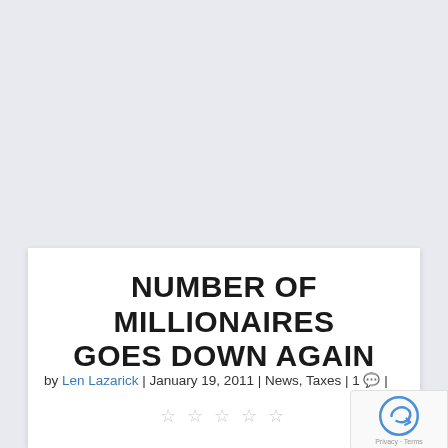NUMBER OF MILLIONAIRES GOES DOWN AGAIN
by Len Lazarick | January 19, 2011 | News, Taxes | 1 💬 |
[Figure (other): Five star rating widget showing empty/outline stars]
[Figure (other): Google reCAPTCHA badge with Privacy and Terms links]